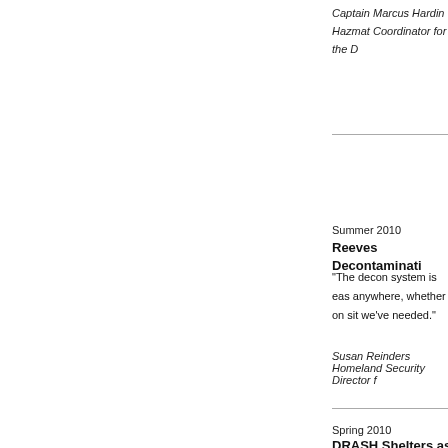Captain Marcus Hardin
Hazmat Coordinator for the D
Summer 2010
Reeves Decontaminati
“The decon system is eas anywhere, whether on sit we've needed.”
Susan Reinders
Homeland Security Director f
Spring 2010
DRASH Shelters as Ma
“In a mass fatality inciden bringing contaminants int Temporary shelters such
John Scrivani